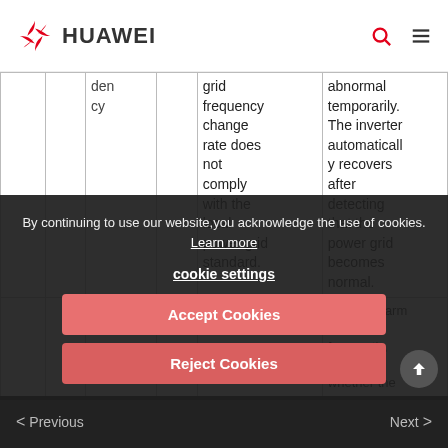HUAWEI
|  |  | den cy |  | grid frequency change rate does not comply with the local power grid standard. | abnormal temporarily. The inverter automatically recovers after detecting that the power grid becomes normal. |
| --- | --- | --- | --- | --- | --- |
|  |  |  |  |  | 2. If the alarm occurs frequently, check whether the power grid frequency is... |
By continuing to use our website,you acknowledge the use of cookies. Learn more
cookie settings
Accept Cookies
Reject Cookies
< Previous   Next >